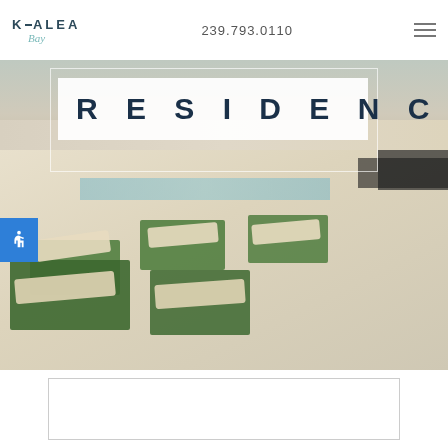KALEA Bay  239.793.0110
RESIDENCES
[Figure (photo): Rooftop pool deck with white lounge chairs on green artificial grass patches, pale stone tiles, and pool visible in background. Overhead shade structures visible at right.]